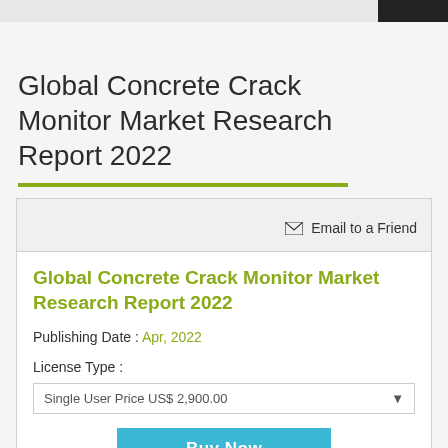Global Concrete Crack Monitor Market Research Report 2022
Email to a Friend
Global Concrete Crack Monitor Market Research Report 2022
Publishing Date : Apr, 2022
License Type :
Single User Price US$ 2,900.00
Buy Now